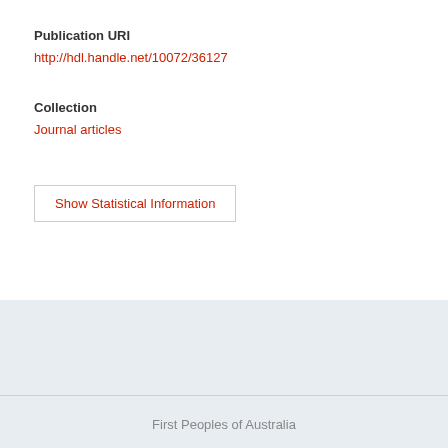Publication URI
http://hdl.handle.net/10072/36127
Collection
Journal articles
Show Statistical Information
Privacy policy | Copyright matters | CRICOS Provider – 00233E
Gold Coast | Logan | Brisbane – Queensland, Australia
First Peoples of Australia